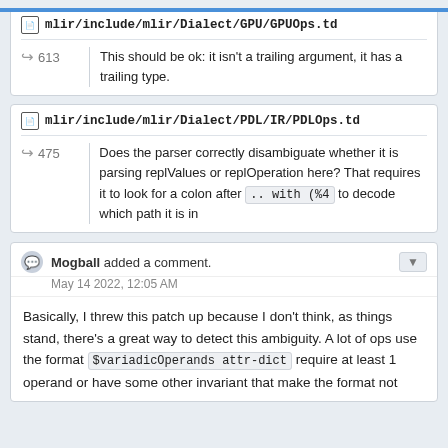mlir/include/mlir/Dialect/GPU/GPUOps.td
613  This should be ok: it isn't a trailing argument, it has a trailing type.
mlir/include/mlir/Dialect/PDL/IR/PDLOps.td
475  Does the parser correctly disambiguate whether it is parsing replValues or replOperation here? That requires it to look for a colon after .. with (%4 to decode which path it is in
Mogball added a comment. May 14 2022, 12:05 AM
Basically, I threw this patch up because I don't think, as things stand, there's a great way to detect this ambiguity. A lot of ops use the format $variadicOperands attr-dict require at least 1 operand or have some other invariant that make the format not